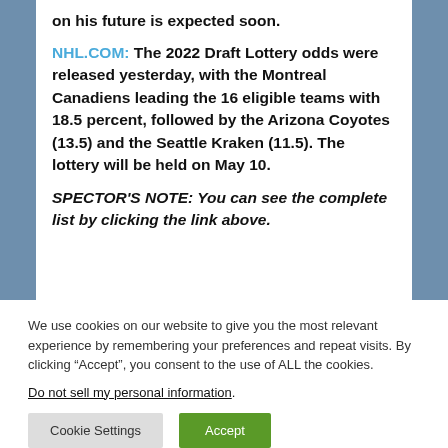on his future is expected soon.
NHL.COM: The 2022 Draft Lottery odds were released yesterday, with the Montreal Canadiens leading the 16 eligible teams with 18.5 percent, followed by the Arizona Coyotes (13.5) and the Seattle Kraken (11.5). The lottery will be held on May 10.
SPECTOR'S NOTE: You can see the complete list by clicking the link above.
We use cookies on our website to give you the most relevant experience by remembering your preferences and repeat visits. By clicking “Accept”, you consent to the use of ALL the cookies.
Do not sell my personal information.